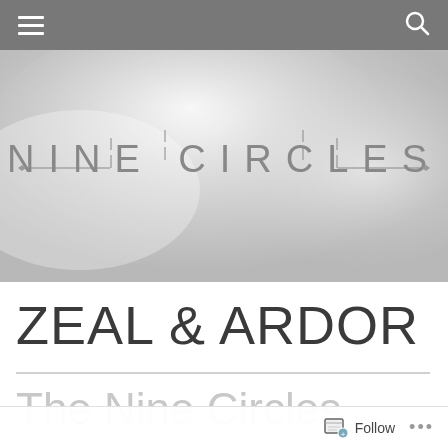Navigation bar with hamburger menu and search icon
[Figure (logo): Nine Circles website logo — decorative text reading 'NINE CIRCLES' with stylized geometric letterforms and horizontal ruled lines, set against a light grey swirling abstract background banner]
ZEAL & ARDOR
The Nine Circles Playlist